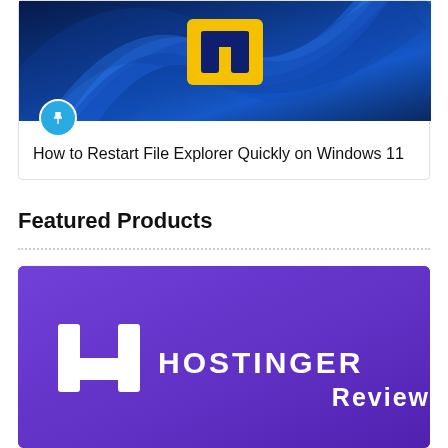[Figure (screenshot): Windows 11 File Explorer icon with Windows 11 wallpaper background (blue swirl with yellow/gold app icon), with a blue circular pin icon in the bottom-left corner]
How to Restart File Explorer Quickly on Windows 11
Featured Products
[Figure (logo): Hostinger Review promotional image with purple background, Hostinger H logo on left, text 'HOSTINGER Review' in white]